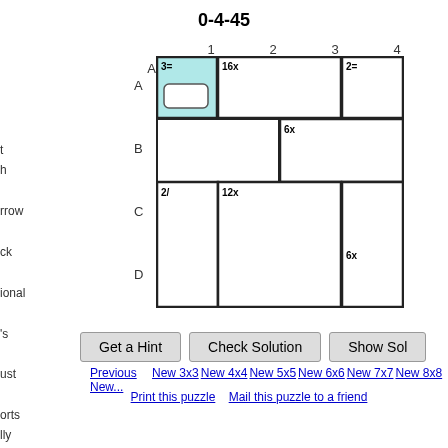0-4-45
[Figure (other): KenKen 4x4 puzzle grid with cages labeled: 3= (A1), 16x (A2-A3), 2= (A4), 6x (B3-B4), 2/ (C1-D1), 12x (C2-D3), 6x (D2-D4). Row labels A,B,C,D. Column labels 1,2,3,4.]
Get a Hint   Check Solution   Show Sol
Previous  New 3x3 New 4x4 New 5x5 New 6x6 New 7x7 New 8x8 New...
Print this puzzle   Mail this puzzle to a friend